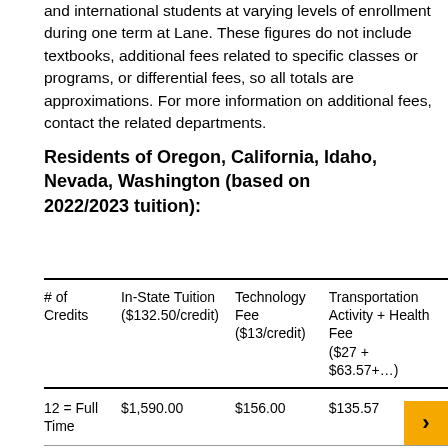and international students at varying levels of enrollment during one term at Lane. These figures do not include textbooks, additional fees related to specific classes or programs, or differential fees, so all totals are approximations. For more information on additional fees, contact the related departments.
Residents of Oregon, California, Idaho, Nevada, Washington (based on 2022/2023 tuition):
| # of Credits | In-State Tuition ($132.50/credit) | Technology Fee ($13/credit) | Transportation Activity + Health Fee ($27 + $63.57+…) |
| --- | --- | --- | --- |
| 12 = Full Time | $1,590.00 | $156.00 | $135.57 |
| 9 = 3/4 | $1,192.50 | $117.00 | $135.57 |